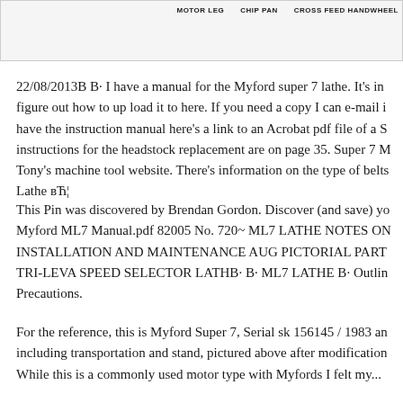[Figure (photo): Partial image strip showing top of a lathe machine with column headers: MOTOR LEG, CHIP PAN, CROSS FEED HANDWHEEL]
22/08/2013B B· I have a manual for the Myford super 7 lathe. It's in figure out how to up load it to here. If you need a copy I can e-mail i have the instruction manual here's a link to an Acrobat pdf file of a S instructions for the headstock replacement are on page 35. Super 7 M Tony's machine tool website. There's information on the type of belts Lathe вЋ¦
This Pin was discovered by Brendan Gordon. Discover (and save) yo Myford ML7 Manual.pdf 82005 No. 720~ ML7 LATHE NOTES ON INSTALLATION AND MAINTENANCE AUG PICTORIAL PART TRI-LEVA SPEED SELECTOR LATHB· B· ML7 LATHE B· Outlin Precautions.
For the reference, this is Myford Super 7, Serial sk 156145 / 1983 an including transportation and stand, pictured above after modification While this is a commonly used motor type with Myfords I felt my...